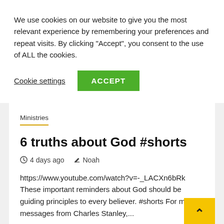We use cookies on our website to give you the most relevant experience by remembering your preferences and repeat visits. By clicking "Accept", you consent to the use of ALL the cookies.
Cookie settings   ACCEPT
Ministries
6 truths about God #shorts
4 days ago   Noah
https://www.youtube.com/watch?v=-_LACXn6bRk These important reminders about God should be guiding principles to every believer. #shorts For more messages from Charles Stanley,...